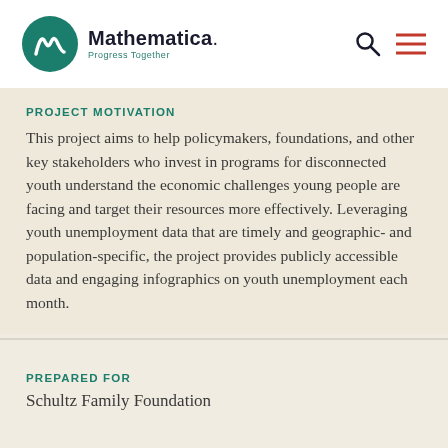Mathematica. Progress Together
PROJECT MOTIVATION
This project aims to help policymakers, foundations, and other key stakeholders who invest in programs for disconnected youth understand the economic challenges young people are facing and target their resources more effectively. Leveraging youth unemployment data that are timely and geographic- and population-specific, the project provides publicly accessible data and engaging infographics on youth unemployment each month.
PREPARED FOR
Schultz Family Foundation